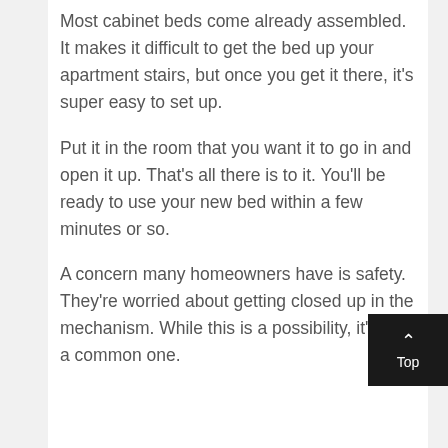Most cabinet beds come already assembled. It makes it difficult to get the bed up your apartment stairs, but once you get it there, it's super easy to set up.
Put it in the room that you want it to go in and open it up. That's all there is to it. You'll be ready to use your new bed within a few minutes or so.
A concern many homeowners have is safety. They're worried about getting closed up in the mechanism. While this is a possibility, it's not a common one.